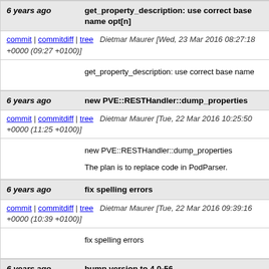6 years ago   get_property_description: use correct base name opt[n]
commit | commitdiff | tree   Dietmar Maurer [Wed, 23 Mar 2016 08:27:18 +0000 (09:27 +0100)]
get_property_description: use correct base name
6 years ago   new PVE::RESTHandler::dump_properties
commit | commitdiff | tree   Dietmar Maurer [Tue, 22 Mar 2016 10:25:50 +0000 (11:25 +0100)]
new PVE::RESTHandler::dump_properties

The plan is to replace code in PodParser.
6 years ago   fix spelling errors
commit | commitdiff | tree   Dietmar Maurer [Tue, 22 Mar 2016 09:39:16 +0000 (10:39 +0100)]
fix spelling errors
6 years ago   bump version to 4.0-56
commit | commitdiff | tree   Dietmar Maurer [Mon, 21 Mar 2016